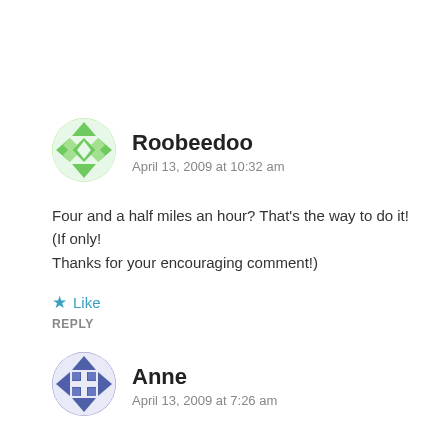[Figure (illustration): Green geometric avatar icon — circular with triangular and diamond patterns]
Roobeedoo
April 13, 2009 at 10:32 am
Four and a half miles an hour? That's the way to do it! (If only! Thanks for your encouraging comment!)
★ Like
REPLY
[Figure (illustration): Blue/purple geometric avatar icon — circular with cross and diamond quilt patterns]
Anne
April 13, 2009 at 7:26 am